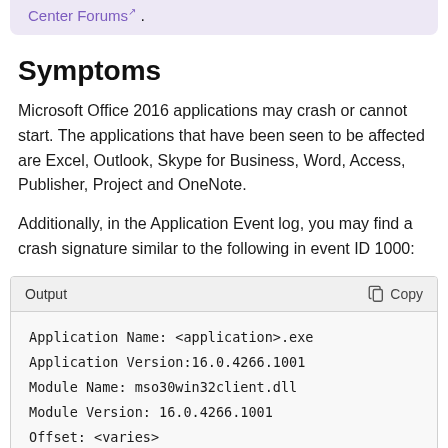Center Forums .
Symptoms
Microsoft Office 2016 applications may crash or cannot start. The applications that have been seen to be affected are Excel, Outlook, Skype for Business, Word, Access, Publisher, Project and OneNote.
Additionally, in the Application Event log, you may find a crash signature similar to the following in event ID 1000:
[Figure (screenshot): Code output block showing: Application Name: <application>.exe, Application Version:16.0.4266.1001, Module Name: mso30win32client.dll, Module Version: 16.0.4266.1001, Offset: <varies>]